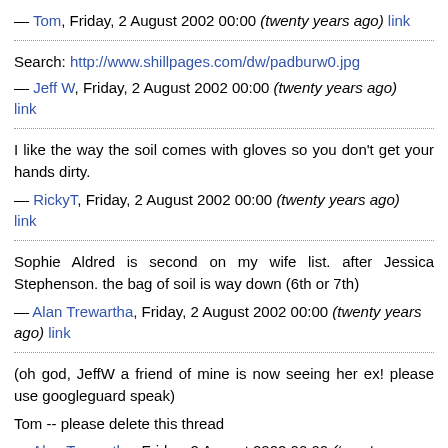— Tom, Friday, 2 August 2002 00:00 (twenty years ago) link
Search: http://www.shillpages.com/dw/padburw0.jpg
— Jeff W, Friday, 2 August 2002 00:00 (twenty years ago) link
I like the way the soil comes with gloves so you don't get your hands dirty.
— RickyT, Friday, 2 August 2002 00:00 (twenty years ago) link
Sophie Aldred is second on my wife list. after Jessica Stephenson. the bag of soil is way down (6th or 7th)
— Alan Trewartha, Friday, 2 August 2002 00:00 (twenty years ago) link
(oh god, JeffW a friend of mine is now seeing her ex! please use googleguard speak)

Tom -- please delete this thread
— Alan Trewartha, Friday, 2 August 2002 00:00 (twenty